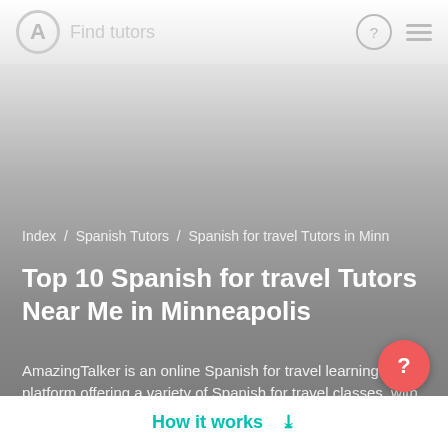Find tutors
Index / Spanish Tutors / Spanish for travel Tutors in Minn
Top 10 Spanish for travel Tutors Near Me in Minneapolis
AmazingTalker is an online Spanish for travel learning platform offering a variety of Spanish for travel classes, with more than 300,000+ students worldwide and counting. You can find Spanish speaking classes, business Spanish classes, Spanish gra...
How it works